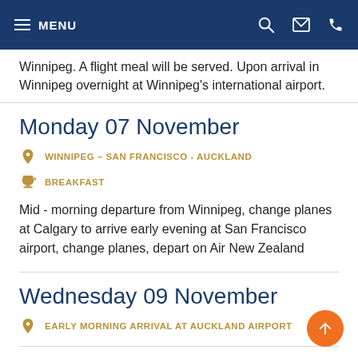MENU
Winnipeg. A flight meal will be served. Upon arrival in Winnipeg overnight at Winnipeg's international airport.
Monday 07 November
WINNIPEG – SAN FRANCISCO - AUCKLAND
BREAKFAST
Mid - morning departure from Winnipeg, change planes at Calgary to arrive early evening at San Francisco airport, change planes, depart on Air New Zealand
Wednesday 09 November
EARLY MORNING ARRIVAL AT AUCKLAND AIRPORT
Inclusions